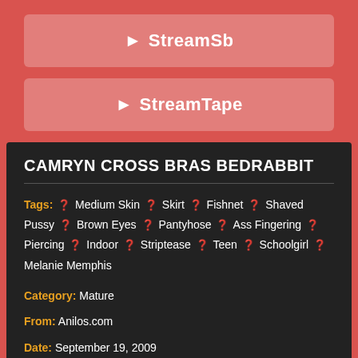[Figure (other): StreamSb button - pink/rose rounded rectangle with play icon and text StreamSb]
[Figure (other): StreamTape button - pink/rose rounded rectangle with play icon and text StreamTape]
CAMRYN CROSS BRAS BEDRABBIT
Tags: Medium Skin Skirt Fishnet Shaved Pussy Brown Eyes Pantyhose Ass Fingering Piercing Indoor Striptease Teen Schoolgirl Melanie Memphis
Category: Mature
From: Anilos.com
Date: September 19, 2009